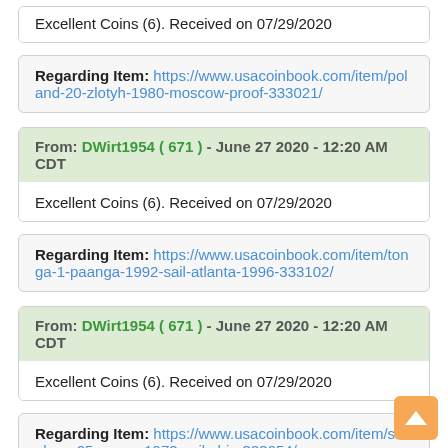Excellent Coins (6). Received on 07/29/2020
Regarding Item: https://www.usacoinbook.com/item/poland-20-zlotyh-1980-moscow-proof-333021/
From: DWirt1954 ( 671 ) - June 27 2020 - 12:20 AM CDT
Excellent Coins (6). Received on 07/29/2020
Regarding Item: https://www.usacoinbook.com/item/tonga-1-paanga-1992-sail-atlanta-1996-333102/
From: DWirt1954 ( 671 ) - June 27 2020 - 12:20 AM CDT
Excellent Coins (6). Received on 07/29/2020
Regarding Item: https://www.usacoinbook.com/item/st-helena-25-pence-1973-sail-ship-333054/